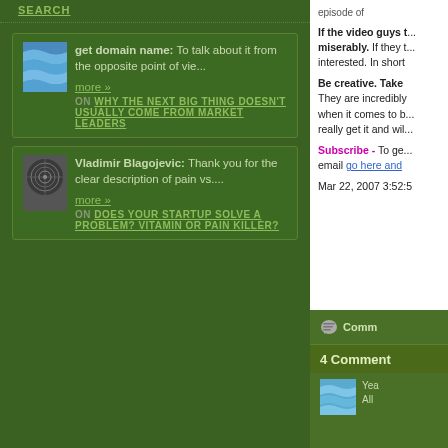SEARCH
get domain name: To talk about it from the opposite point of vie...
more »
ON WHY THE NEXT BIG THING DOESN'T USUALLY COME FROM MARKET LEADERS
Vladimir Blagojevic: Thank you for the clear description of pain vs....
more »
ON DOES YOUR STARTUP SOLVE A PROBLEM? VITAMIN OR PAIN KILLER?
episode of
If the video guys t... miserably. If they t... interested. In short
Be creative. Take They are incredibly when it comes to b... really get it and wil...
Subscribe - To ge... email go here and
Mar 22, 2007 3:52:5
Comm
4 Comment
Yea All